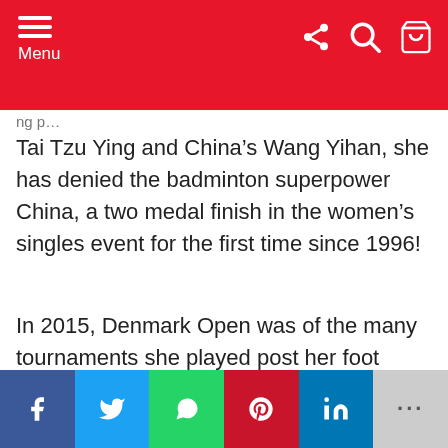Menu
Tai Tzu Ying and China’s Wang Yihan, she has denied the badminton superpower China, a two medal finish in the women’s singles event for the first time since 1996!
In 2015, Denmark Open was of the many tournaments she played post her foot injury and there she defeated top ranked players like Tai Tzu Ying (Taipei), Wang Yihan (China) and Carolina Marin (Spain) before going down to China’s Li Xuerui in the final.